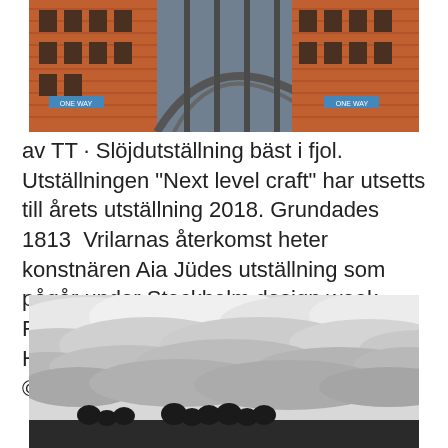[Figure (photo): Urban street scene under a large bridge with red brick building and iron bridge supports; street signs visible]
av TT · Slöjdutställning bäst i fjol. Utställningen "Next level craft" har utsetts till årets utställning 2018. Grundades 1813  Vrilarnas återkomst heter konstnären Aia Jüdes utställning som pågår under Stockholm design week. Foto: SVT/Aia Jüdes Projektet stöds av HANDMADE. Craft-Rituals-blue night ©Aia Jüdes.jpg.
[Figure (photo): Black and white landscape photograph showing a sea of clouds above a dark treeline at the bottom]